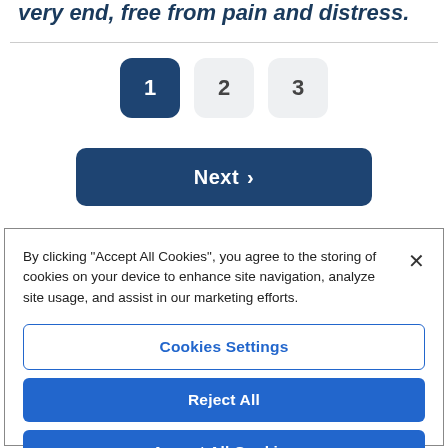very end, free from pain and distress.
[Figure (screenshot): Pagination buttons showing pages 1 (active, dark blue), 2, and 3 with a Next > button below]
By clicking “Accept All Cookies”, you agree to the storing of cookies on your device to enhance site navigation, analyze site usage, and assist in our marketing efforts.
Cookies Settings
Reject All
Accept All Cookies